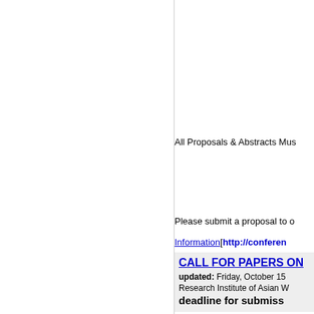All Proposals & Abstracts Mus
Please submit a proposal to o
Information[http://conferen
CALL FOR PAPERS ON
updated: Friday, October 15
Research Institute of Asian W
deadline for submiss